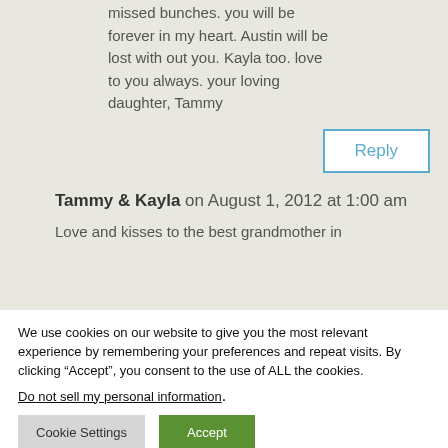missed bunches. you will be forever in my heart. Austin will be lost with out you. Kayla too. love to you always. your loving daughter, Tammy
Reply
Tammy & Kayla on August 1, 2012 at 1:00 am
Love and kisses to the best grandmother in
We use cookies on our website to give you the most relevant experience by remembering your preferences and repeat visits. By clicking “Accept”, you consent to the use of ALL the cookies.
Do not sell my personal information.
Cookie Settings
Accept